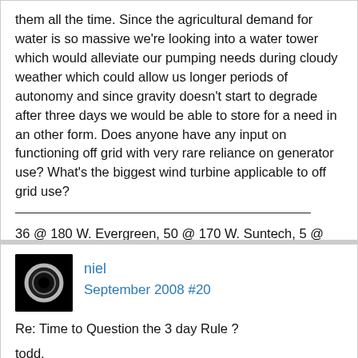them all the time. Since the agricultural demand for water is so massive we're looking into a water tower which would alleviate our pumping needs during cloudy weather which could allow us longer periods of autonomy and since gravity doesn't start to degrade after three days we would be able to store for a need in an other form. Does anyone have any input on functioning off grid with very rare reliance on generator use? What's the biggest wind turbine applicable to off grid use?
36 @ 180 W. Evergreen, 50 @ 170 W. Suntech, 5 @ MX-60, 8 @ Crown 1875 A.H. 12 V. Batt. in 48 V. config. 4 @ FX-3248T 3200 W. inverters.
niel
September 2008 #20
Re: Time to Question the 3 day Rule ?
todd,
the 3 day rule being refered to is not about pvs or wind, but